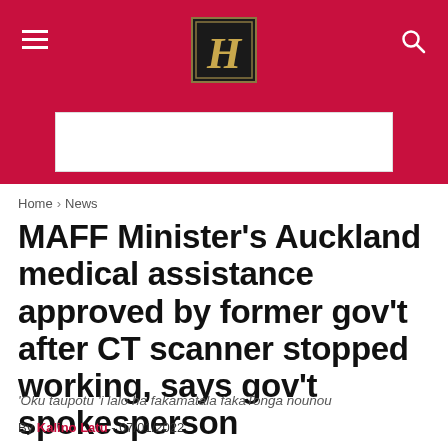[Figure (logo): Matangi Tonga newspaper logo - ornate gothic H letter in gold on black background, centered in red header bar with hamburger menu icon on left and search icon on right]
[Figure (other): Advertisement placeholder - white rectangle on red background]
Home › News
MAFF Minister's Auckland medical assistance approved by former gov't after CT scanner stopped working, says gov't spokesperson
'Oku taupotu 'i lalo ha fakamatala fakaTonga nounou
By Kalino Latu - 07/01/2022